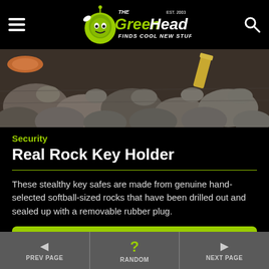The Green Head - Finds Cool New Stuff!
[Figure (photo): Close-up of river rocks/stones outdoors with what appears to be a small terracotta pot and a gold-colored object among them — representing the Real Rock Key Holder product.]
Security
Real Rock Key Holder
These stealthy key safes are made from genuine hand-selected softball-sized rocks that have been drilled out and sealed up with a removable rubber plug.
► Amazon.com*
◄ PREV PAGE   ? RANDOM   ► NEXT PAGE